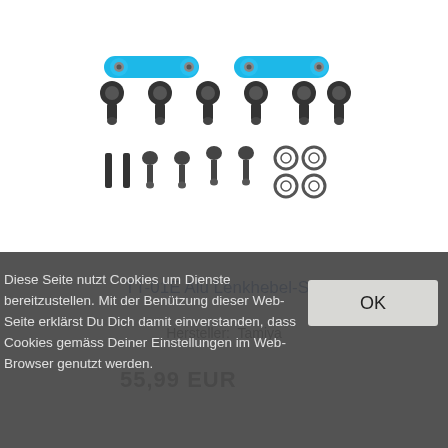[Figure (photo): Product image of TT-01E Alu Lenkhebel-Set showing blue aluminum steering links and black ball joints/hardware components laid out on white background]
TT-01E Alu Lenkhebel-Set
Hersteller:  Tamiya
55,99 EUR
Diese Seite nutzt Cookies um Dienste bereitzustellen. Mit der Benützung dieser Web-Seite erklärst Du Dich damit einverstanden, dass Cookies gemäss Deiner Einstellungen im Web-Browser genutzt werden.